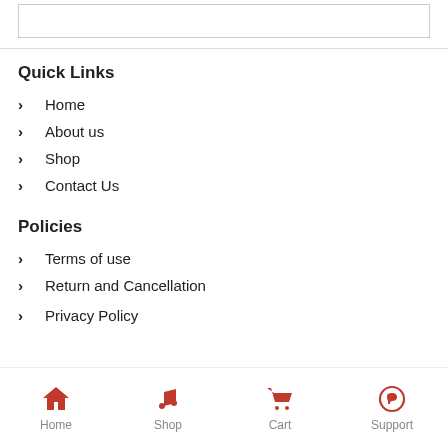Quick Links
Home
About us
Shop
Contact Us
Policies
Terms of use
Return and Cancellation
Privacy Policy
Home  Shop  Cart  Support